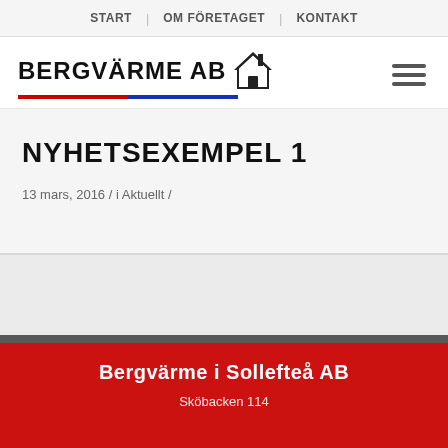START | OM FÖRETAGET | KONTAKT
[Figure (logo): Bergvärme AB logo with house icon and red/blue underline]
NYHETSEXEMPEL 1
13 mars, 2016 / i Aktuellt /
Bergvärme i Sollefteå AB
Sköbacken 114